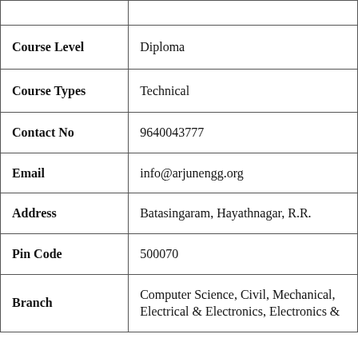|  |  |
| Course Level | Diploma |
| Course Types | Technical |
| Contact No | 9640043777 |
| Email | info@arjunengg.org |
| Address | Batasingaram, Hayathnagar, R.R. |
| Pin Code | 500070 |
| Branch | Computer Science, Civil, Mechanical, Electrical & Electronics, Electronics & |